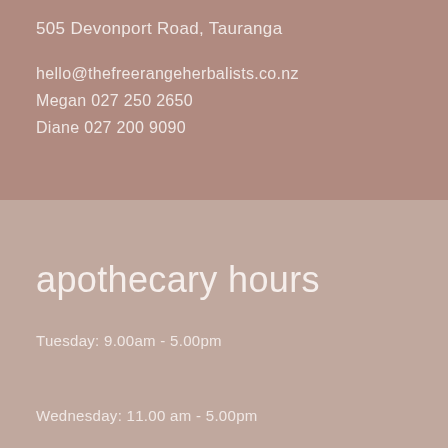505 Devonport Road, Tauranga
hello@thefreerangeherbalists.co.nz
Megan 027 250 2650
Diane 027 200 9090
apothecary hours
Tuesday: 9.00am - 5.00pm

Wednesday: 11.00 am - 5.00pm

Thursday: 9.00am - 5.00pm